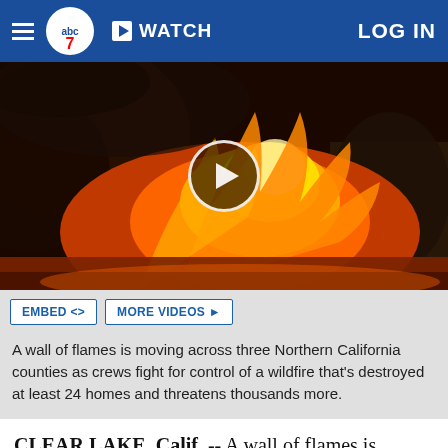abc7 WATCH LOG IN
[Figure (photo): Aerial photograph of a wildfire with large wall of flames and orange glow, with a video play button overlay in the center]
A wall of flames is moving across three Northern California counties as crews fight for control of a wildfire that's destroyed at least 24 homes and threatens thousands more.
CLEAR LAKE, Calif. -- A wall of flames is moving